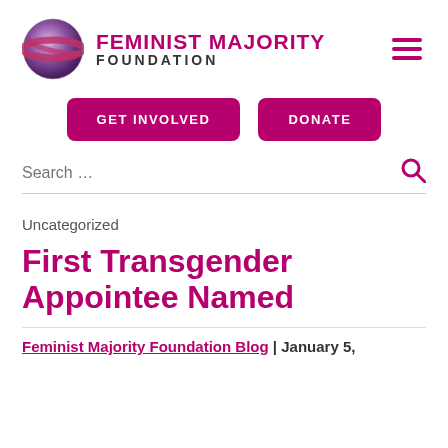FEMINIST MAJORITY FOUNDATION
GET INVOLVED   DONATE
Search ...
Uncategorized
First Transgender Appointee Named
Feminist Majority Foundation Blog | January 5,